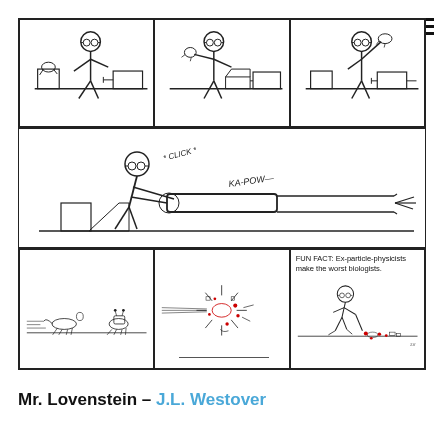[Figure (illustration): A webcomic strip in multiple panels. Row 1 (3 panels): stick figure with glasses at a table with equipment — panel 1 shows setup, panel 2 shows figure reaching/operating device, panel 3 shows figure holding something up. Row 2 (1 wide panel): stick figure firing a large gun/cannon at a small animal running away, with sound effects '*CLICK*' and 'KA-POW—'. Row 3 (3 panels): left panel shows two small animals running; middle panel shows explosion/collision with red scatter; right panel shows stick figure crouching examining scattered remains on floor with text 'FUN FACT: Ex-particle-physicists make the worst biologists.']
Mr. Lovenstein – J.L. Westover